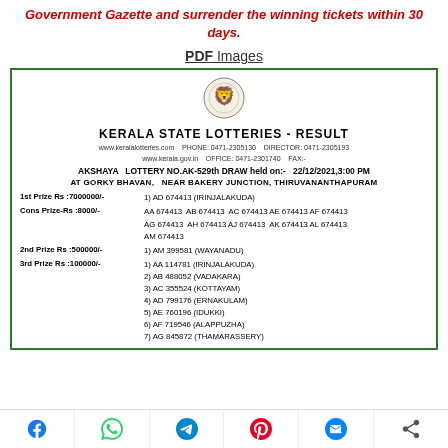Government Gazette and surrender the winning tickets within 30 days.
PDF Images
[Figure (illustration): Kerala State emblem/seal]
KERALA STATE LOTTERIES - RESULT
www.keralalotteries.com  PHONE: 0471-2305130  DIRECTOR: 0471-2305193
www.kerala.gov.in  OFFICE: 0471-2301740  FAX:-
AKSHAYA  LOTTERY NO.AK-529th DRAW held on:-  22/12/2021,3:00 PM
AT GORKY BHAVAN,  NEAR BAKERY JUNCTION, THIRUVANANTHAPURAM
| Prize | Winners |
| --- | --- |
| 1st Prize Rs :7000000/- | 1) AD 674413 (IRINJALAKUDA) |
| Cons Prize-Rs :8000/- | AA 674413  AB 674413  AC 674413 AE 674413 AF 674413
AG 674413  AH 674413 AJ 674413  AK 674413 AL 674413
AM 674413 |
| 2nd Prize Rs :500000/- | 1) AM 399581 (WAYANADU) |
| 3rd Prize Rs :100000/- | 1) AA 114781 (IRINJALAKUDA)
2) AB 488052 (VADAKARA)
3) AC 355524 (KOTTAYAM)
4) AD 799176 (ERNAKULAM)
5) AE 760196 (IDUKKI)
6) AF 719546 (ALAPPUZHA)
7) AG 845872 (THAMARASSERY) |